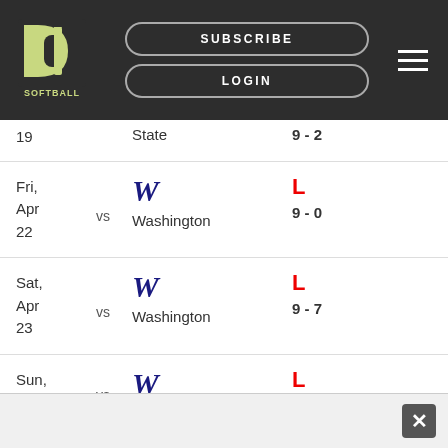D1 SOFTBALL - SUBSCRIBE | LOGIN
| Date | vs | Team | Result | Score |
| --- | --- | --- | --- | --- |
| 19 |  | State |  | 9 - 2 |
| Fri, Apr 22 | vs | Washington (W) | L | 9 - 0 |
| Sat, Apr 23 | vs | Washington (W) | L | 9 - 7 |
| Sun, Apr | vs | Washington (W) | L | 5 - 0 |